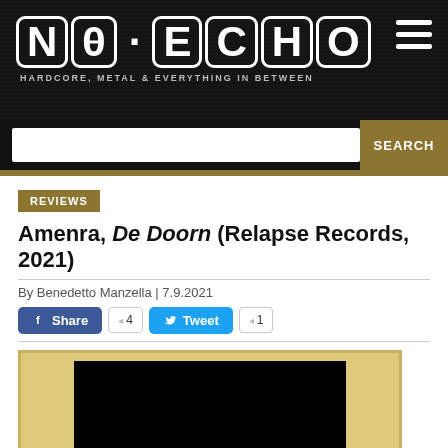NO ECHO — HARDCORE, METAL & EVERYTHING IN BETWEEN
REVIEWS
Amenra, De Doorn (Relapse Records, 2021)
By Benedetto Manzella | 7.9.2021
[Figure (screenshot): Facebook Share button with count 4 and Twitter Tweet button with count 1]
[Figure (photo): Album artwork for De Doorn by Amenra, shown in a gold-bordered frame with black center]